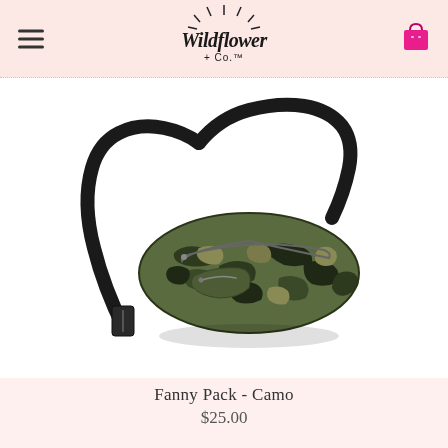Wildflower + Co.
[Figure (photo): Camouflage fanny pack with black adjustable strap and buckle closure, displayed on white background]
Fanny Pack - Camo
$25.00